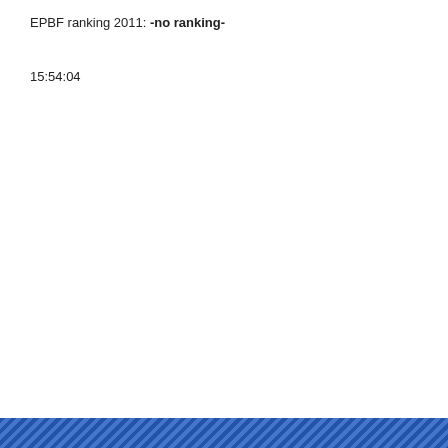EPBF ranking 2011: -no ranking-
15:54:04